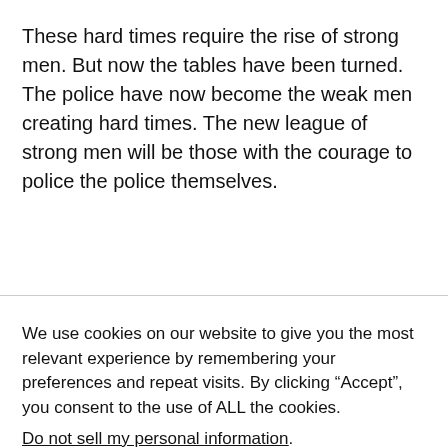These hard times require the rise of strong men. But now the tables have been turned. The police have now become the weak men creating hard times. The new league of strong men will be those with the courage to police the police themselves.
We use cookies on our website to give you the most relevant experience by remembering your preferences and repeat visits. By clicking “Accept”, you consent to the use of ALL the cookies.
Do not sell my personal information.